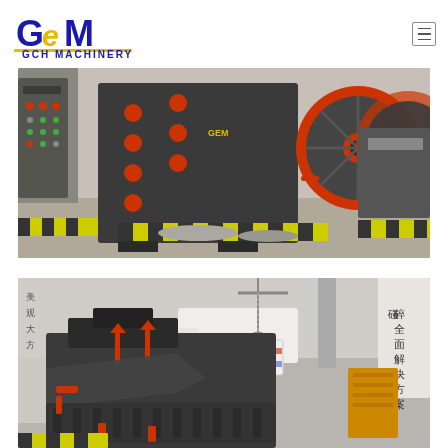[Figure (logo): GEM / GCH Machinery logo with blue and yellow text and underline]
[Figure (photo): Industrial jaw crusher machine, dark grey with red circular markings and flywheel, photographed in a factory/warehouse setting with yellow and black safety barriers on the floor]
[Figure (photo): Impact crusher or secondary crusher machine being lifted or displayed in a factory setting, dark grey with red accents, yellow machinery and Chinese text signage visible in background]